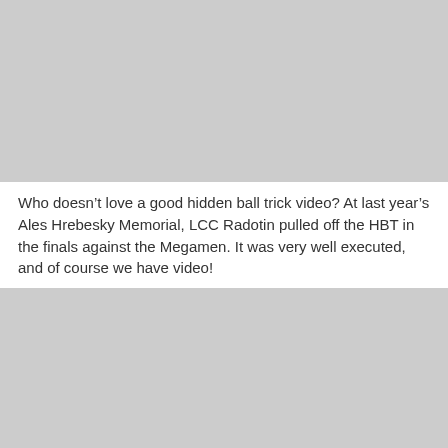[Figure (photo): Gray placeholder image at the top of the page]
Who doesn’t love a good hidden ball trick video? At last year’s Ales Hrebesky Memorial, LCC Radotin pulled off the HBT in the finals against the Megamen. It was very well executed, and of course we have video!
Stadium In Radotin Gets Torn Down
[Figure (photo): Gray placeholder image at the bottom of the page]